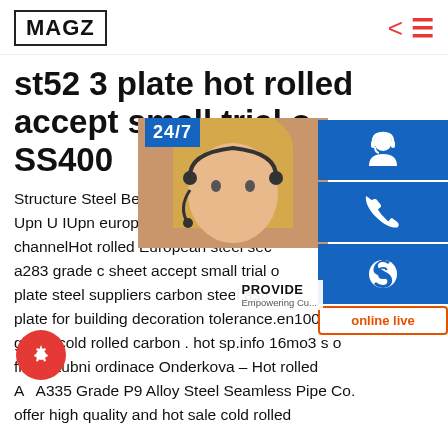MAGZ
st52 3 plate hot rolled accept small trial order SS400
Structure Steel Beams European Standard Upn U IUpn european standard s235jr channelHot rolled European steel sec a283 grade c sheet accept small trial order plate steel suppliers carbon steel astr plate for building decoration tolerance.en10025 s355 grade cold rolled carbon . hot sp.info 16mo3 s o flates-Zubni ordinace Onderkova – Hot rolled A A335 Grade P9 Alloy Steel Seamless Pipe Co. offer high quality and hot sale cold rolled
[Figure (infographic): Right-side overlay showing 24/7 customer service panel with headset icon, phone icon, Skype icon, PROVIDE Empowering Customers banner, and online live button. Also shows a customer service representative photo and a red gear FAB button.]